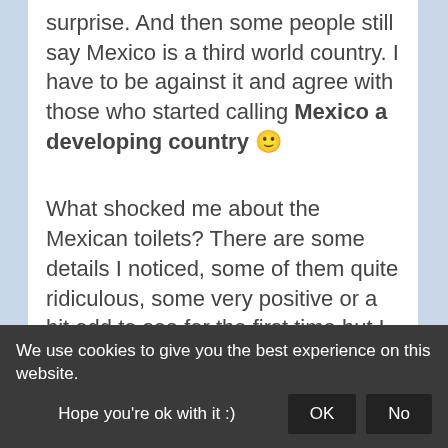surprise. And then some people still say Mexico is a third world country. I have to be against it and agree with those who started calling Mexico a developing country 🙂
What shocked me about the Mexican toilets? There are some details I noticed, some of them quite ridiculous, some very positive or a bit odd to see for the first time but I still did see them.
Higher quality – baños demuestran lo que somos = toilets show what we are is
We use cookies to give you the best experience on this website. Hope you're ok with it :)